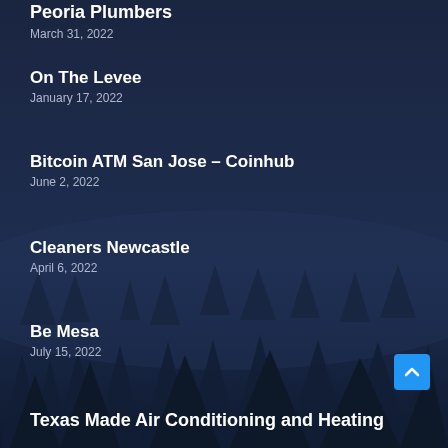Peoria Plumbers
March 31, 2022
On The Levee
January 17, 2022
Bitcoin ATM San Jose – Coinhub
June 2, 2022
Cleaners Newcastle
April 6, 2022
Be Mesa
July 15, 2022
Texas Made Air Conditioning and Heating